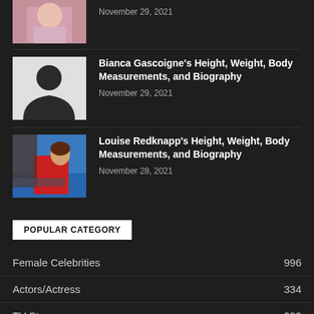[Figure (photo): Partially visible photo of a person at the top of the page, cropped]
November 29, 2021
Bianca Gascoigne's Height, Weight, Body Measurements, and Biography
November 29, 2021
[Figure (photo): Louise Redknapp photo showing woman in red near water]
Louise Redknapp's Height, Weight, Body Measurements, and Biography
November 28, 2021
POPULAR CATEGORY
Female Celebrities  996
Actors/Actress  334
TV Stars  200
Sports Players  173